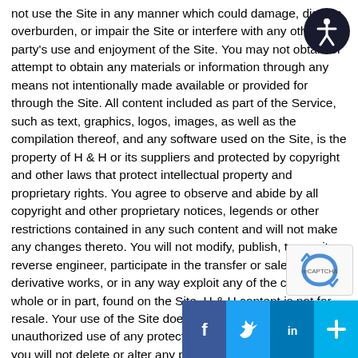not use the Site in any manner which could damage, disable, overburden, or impair the Site or interfere with any other party's use and enjoyment of the Site. You may not obtain or attempt to obtain any materials or information through any means not intentionally made available or provided for through the Site. All content included as part of the Service, such as text, graphics, logos, images, as well as the compilation thereof, and any software used on the Site, is the property of H & H or its suppliers and protected by copyright and other laws that protect intellectual property and proprietary rights. You agree to observe and abide by all copyright and other proprietary notices, legends or other restrictions contained in any such content and will not make any changes thereto. You will not modify, publish, transmit, reverse engineer, participate in the transfer or sale, create derivative works, or in any way exploit any of the content, in whole or in part, found on the Site. H & H content is not for resale. Your use of the Site does not entitle you to make any unauthorized use of any protected content, and in particular you will not delete or alter any proprietary rights or attribution notices in any content. You will use protected content solely for your personal use, and will make no other use of the content without the express written permission of H & H and the copyright owner. You agree that you do not acquire any ownership rights in any protected content. We grant you no licenses, express or implied, to the intellectual property of H &
[Figure (illustration): Accessibility icon — white stick figure in a circle on dark blue background, top right corner]
[Figure (illustration): reCAPTCHA widget, bottom right corner]
[Figure (illustration): Social share bar with Facebook, Twitter, LinkedIn, and a plus/add button icons at the bottom right]